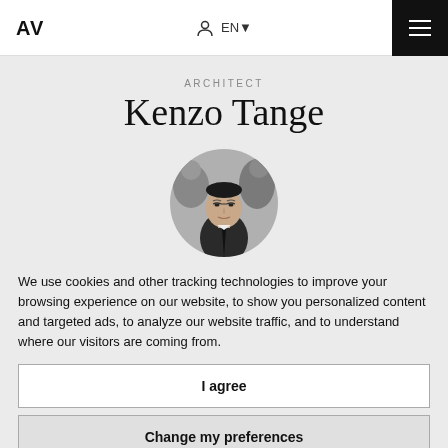AV  EN▾  ☰
ARCHITECT
Kenzo Tange
[Figure (photo): Black and white circular portrait photo of Kenzo Tange]
We use cookies and other tracking technologies to improve your browsing experience on our website, to show you personalized content and targeted ads, to analyze our website traffic, and to understand where our visitors are coming from.
I agree
Change my preferences